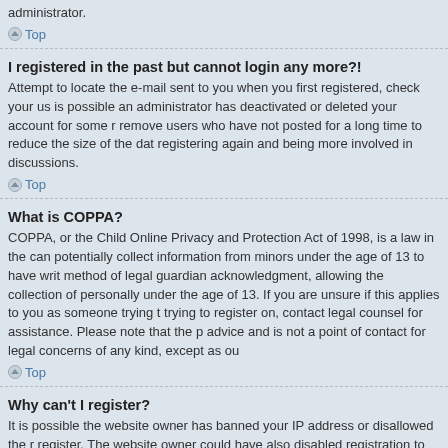administrator.
Top
I registered in the past but cannot login any more?!
Attempt to locate the e-mail sent to you when you first registered, check your us is possible an administrator has deactivated or deleted your account for some r remove users who have not posted for a long time to reduce the size of the dat registering again and being more involved in discussions.
Top
What is COPPA?
COPPA, or the Child Online Privacy and Protection Act of 1998, is a law in the can potentially collect information from minors under the age of 13 to have writ method of legal guardian acknowledgment, allowing the collection of personally under the age of 13. If you are unsure if this applies to you as someone trying t trying to register on, contact legal counsel for assistance. Please note that the p advice and is not a point of contact for legal concerns of any kind, except as ou
Top
Why can't I register?
It is possible the website owner has banned your IP address or disallowed the r register. The website owner could have also disabled registration to prevent ne board administrator for assistance.
Top
What does the "Delete all board cookies" do?